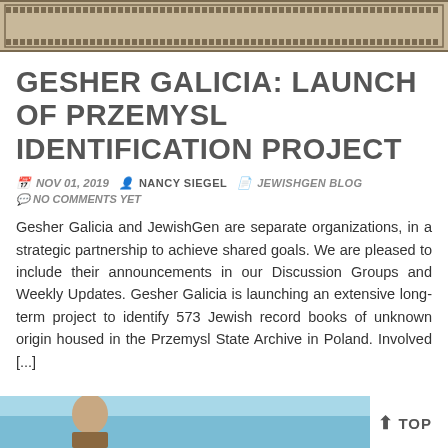[Figure (illustration): Decorative banner with repeating pattern border in tan/brown colors at top of page]
GESHER GALICIA: LAUNCH OF PRZEMYSL IDENTIFICATION PROJECT
NOV 01, 2019  NANCY SIEGEL  JEWISHGEN BLOG  NO COMMENTS YET
Gesher Galicia and JewishGen are separate organizations, in a strategic partnership to achieve shared goals. We are pleased to include their announcements in our Discussion Groups and Weekly Updates. Gesher Galicia is launching an extensive long-term project to identify 573 Jewish record books of unknown origin housed in the Przemysl State Archive in Poland. Involved [...]
[Figure (photo): Partial photo of a person at the bottom of the page, with blue/teal background]